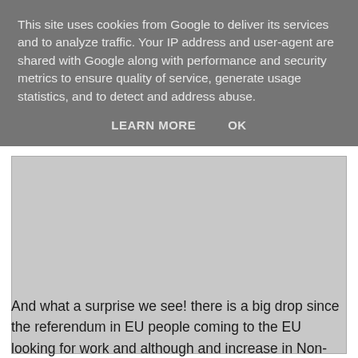This site uses cookies from Google to deliver its services and to analyze traffic. Your IP address and user-agent are shared with Google along with performance and security metrics to ensure quality of service, generate usage statistics, and to detect and address abuse.
LEARN MORE    OK
[Figure (other): Gray placeholder rectangle representing an embedded image or advertisement area]
And what a surprise we see! there is a big drop since the referendum in EU people coming to the EU looking for work and although and increase in Non-EU, there is not enough to